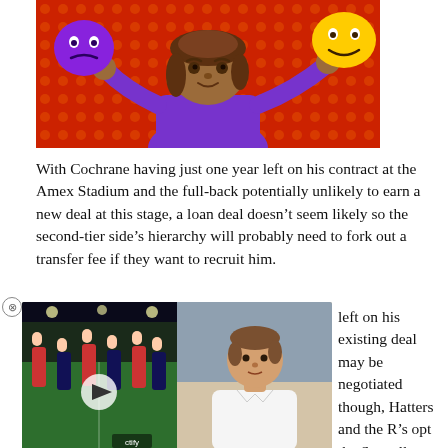[Figure (illustration): Illustration of a woman with brown hair wearing a purple top, holding two emoji-style theatre masks (a purple drama mask and a yellow comedy mask), against a red dotted background.]
With Cochrane having just one year left on his contract at the Amex Stadium and the full-back potentially unlikely to earn a new deal at this stage, a loan deal doesn't seem likely so the second-tier side's hierarchy will probably need to fork out a transfer fee if they want to recruit him.
[Figure (screenshot): Embedded video widget showing football match footage on the left half and a man in a white shirt (pundit/analyst) on the right half, with a play button overlay and a 'ctify' watermark label at the bottom right.]
left on his existing deal may be negotiated though, Hatters and the R's opt the Seagull.